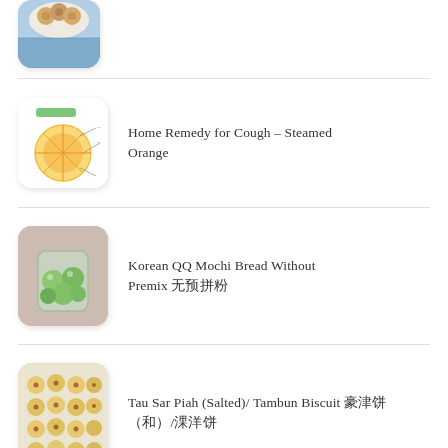[Figure (photo): Partial view of a plate of baked pastries on a patterned blue tablecloth, cropped at top]
[Figure (photo): Diagram of a halved orange with annotations, green label at top, on white background]
Home Remedy for Cough – Steamed Orange
[Figure (photo): Round green mochi bread rolls in a glass jar on a pink cloth]
Korean QQ Mochi Bread Without Premix 无预拌粉
[Figure (photo): Rows of small round baked biscuits on a white surface]
Tau Sar Piah (Salted)/ Tambun Biscuit 豆沙饼（咸）/淡汶饼
[Figure (photo): Partial view of a dessert, cropped at bottom]
Oreo Raspberry White Chocolate No